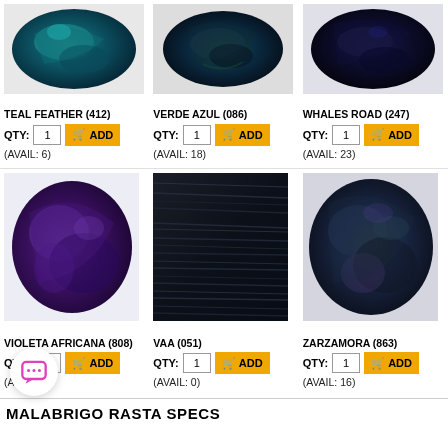[Figure (photo): Teal Feather yarn skein - teal/blue-green color]
TEAL FEATHER (412)
QTY: 1  ADD
(AVAIL: 6)
[Figure (photo): Verde Azul yarn skein - dark teal/navy color]
VERDE AZUL (086)
QTY: 1  ADD
(AVAIL: 18)
[Figure (photo): Whales Road yarn skein - dark navy/blue color]
WHALES ROAD (247)
QTY: 1  ADD
(AVAIL: 23)
[Figure (photo): Violeta Africana yarn skein - deep purple color]
VIOLETA AFRICANA (808)
QTY: 1  ADD
(AVAIL: 5)
[Figure (photo): VAA yarn skein - very dark navy/black color]
VAA (051)
QTY: 1  ADD
(AVAIL: 0)
[Figure (photo): Zarzamora yarn skein - dark teal/purple multicolor]
ZARZAMORA (863)
QTY: 1  ADD
(AVAIL: 16)
MALABRIGO RASTA SPECS